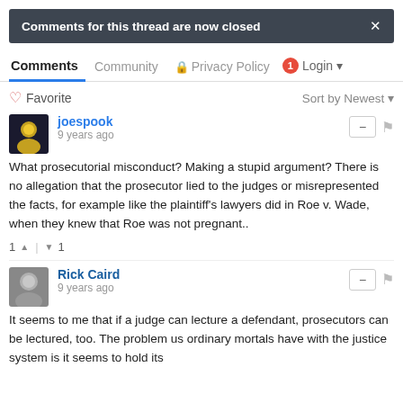Comments for this thread are now closed
Comments  Community  Privacy Policy  1  Login
Favorite  Sort by Newest
joespook
9 years ago
What prosecutorial misconduct? Making a stupid argument? There is no allegation that the prosecutor lied to the judges or misrepresented the facts, for example like the plaintiff's lawyers did in Roe v. Wade, when they knew that Roe was not pregnant..
1 ^ | v 1
Rick Caird
9 years ago
It seems to me that if a judge can lecture a defendant, prosecutors can be lectured, too. The problem us ordinary mortals have with the justice system is it seems to hold its